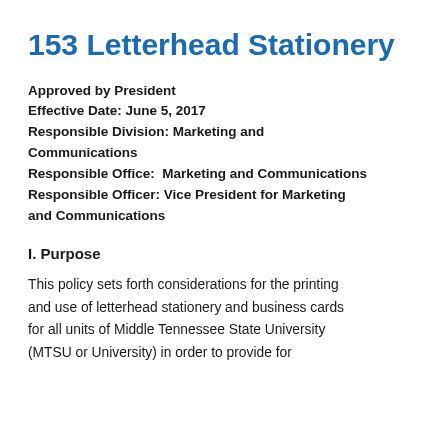153 Letterhead Stationery
Approved by President
Effective Date: June 5, 2017
Responsible Division: Marketing and Communications
Responsible Office:  Marketing and Communications
Responsible Officer: Vice President for Marketing and Communications
I. Purpose
This policy sets forth considerations for the printing and use of letterhead stationery and business cards for all units of Middle Tennessee State University (MTSU or University) in order to provide for